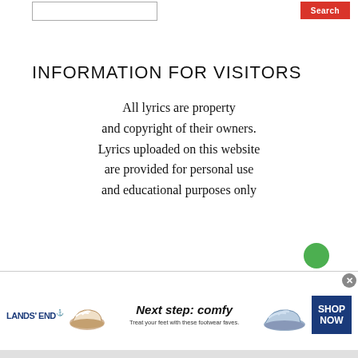Search
INFORMATION FOR VISITORS
All lyrics are property and copyright of their owners. Lyrics uploaded on this website are provided for personal use and educational purposes only
[Figure (other): Advertisement banner for Lands' End featuring sandals/footwear with text 'Next step: comfy - Treat your feet with these footwear faves.' and a dark blue SHOP NOW button]